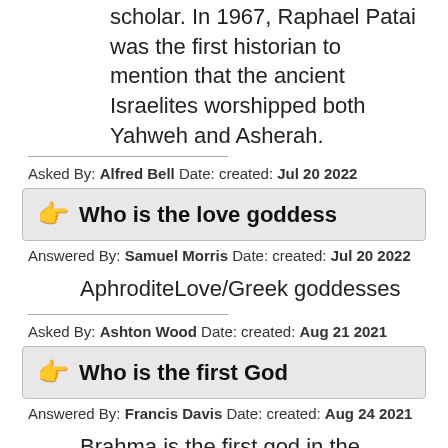scholar. In 1967, Raphael Patai was the first historian to mention that the ancient Israelites worshipped both Yahweh and Asherah.
Asked By: Alfred Bell Date: created: Jul 20 2022
Who is the love goddess
Answered By: Samuel Morris Date: created: Jul 20 2022
AphroditeLove/Greek goddesses
Asked By: Ashton Wood Date: created: Aug 21 2021
Who is the first God
Answered By: Francis Davis Date: created: Aug 24 2021
Brahma is the first god in the Hindu triumvirate, or trimurti. The triumvirate consists of three gods who are